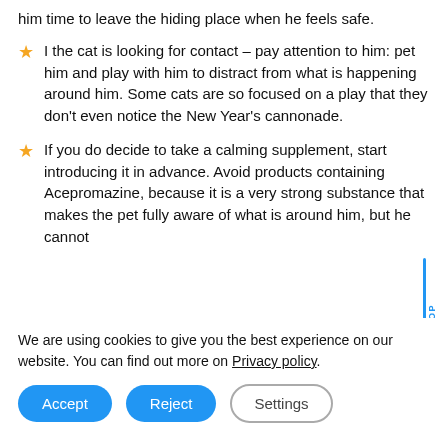him time to leave the hiding place when he feels safe.
I the cat is looking for contact – pay attention to him: pet him and play with him to distract from what is happening around him. Some cats are so focused on a play that they don't even notice the New Year's cannonade.
If you do decide to take a calming supplement, start introducing it in advance. Avoid products containing Acepromazine, because it is a very strong substance that makes the pet fully aware of what is around him, but he cannot
We are using cookies to give you the best experience on our website. You can find out more on Privacy policy.
Accept | Reject | Settings